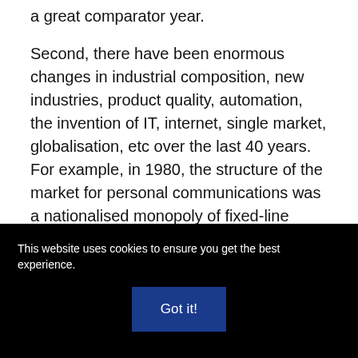a great comparator year.
Second, there have been enormous changes in industrial composition, new industries, product quality, automation, the invention of IT, internet, single market, globalisation, etc over the last 40 years. For example, in 1980, the structure of the market for personal communications was a nationalised monopoly of fixed-line telephones. Today, there is no space to list the mobile, text, e-mail, social network, skype and other products
This website uses cookies to ensure you get the best experience.
Got it!